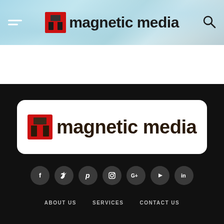[Figure (logo): Magnetic Media logo in header bar with light blue watercolor background, hamburger menu icon on left, search icon on right. Logo shows red arch icon and black bold text 'magnetic media'.]
[Figure (logo): Magnetic Media logo on white rounded rectangle card against black background. Red arch icon with dark brown/black bold text 'magnetic media'.]
[Figure (infographic): Row of 7 social media icon buttons (dark circle backgrounds): Facebook (f), Twitter (bird/t), Pinterest (p), Instagram (camera), Google+ (G+), YouTube (play triangle), LinkedIn (in).]
ABOUT US   SERVICES   CONTACT US